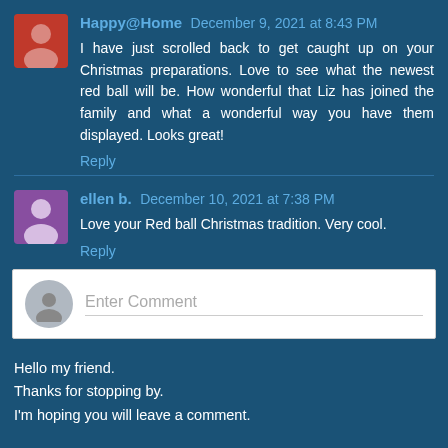Happy@Home  December 9, 2021 at 8:43 PM
I have just scrolled back to get caught up on your Christmas preparations. Love to see what the newest red ball will be. How wonderful that Liz has joined the family and what a wonderful way you have them displayed. Looks great!
Reply
ellen b.  December 10, 2021 at 7:38 PM
Love your Red ball Christmas tradition. Very cool.
Reply
Enter Comment
Hello my friend.
Thanks for stopping by.
I'm hoping you will leave a comment.